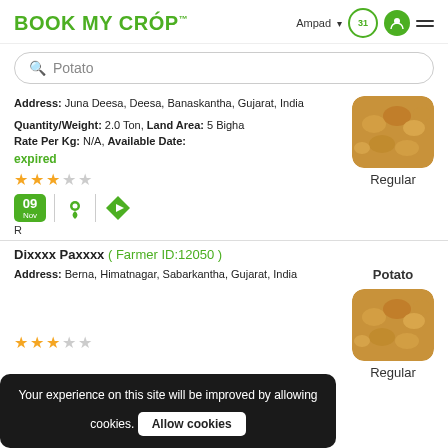BOOK MY CROP™ — Ampad (location) navigation
Potato (search bar)
Address: Juna Deesa, Deesa, Banaskantha, Gujarat, India
Quantity/Weight: 2.0 Ton, Land Area: 5 Bigha
Rate Per Kg: N/A, Available Date:
expired
[Figure (photo): Potato crop image, rounded square thumbnail labelled Regular]
Rating: 3 out of 5 stars. Date badge: 09 Nov. R
Dixxxx Paxxxx ( Farmer ID:12050 )
Address: Berna, Himatnagar, Sabarkantha, Gujarat, India
[Figure (photo): Potato crop image, rounded square thumbnail labelled Regular]
Potato — Regular
Cookie banner: Your experience on this site will be improved by allowing cookies. Allow cookies